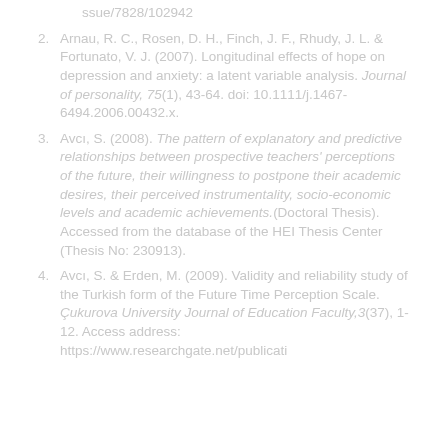ssue/7828/102942
2. Arnau, R. C., Rosen, D. H., Finch, J. F., Rhudy, J. L. & Fortunato, V. J. (2007). Longitudinal effects of hope on depression and anxiety: a latent variable analysis. Journal of personality, 75(1), 43-64. doi: 10.1111/j.1467-6494.2006.00432.x.
3. Avcı, S. (2008). The pattern of explanatory and predictive relationships between prospective teachers' perceptions of the future, their willingness to postpone their academic desires, their perceived instrumentality, socio-economic levels and academic achievements.(Doctoral Thesis). Accessed from the database of the HEI Thesis Center (Thesis No: 230913).
4. Avcı, S. & Erden, M. (2009). Validity and reliability study of the Turkish form of the Future Time Perception Scale. Çukurova University Journal of Education Faculty,3(37), 1-12. Access address: https://www.researchgate.net/publicati